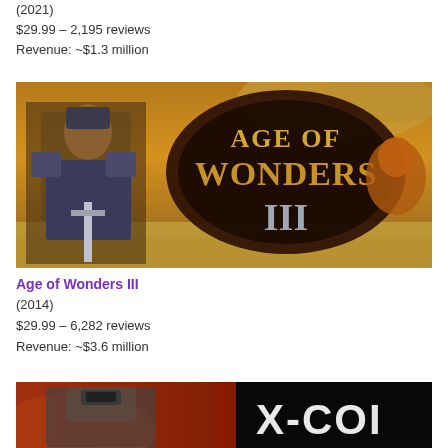(2021)
$29.99 – 2,195 reviews
Revenue: ~$1.3 million
[Figure (illustration): Age of Wonders III game cover art showing an armored warrior and the game logo with golden text on a fantasy background]
Age of Wonders III
(2014)
$29.99 – 6,282 reviews
Revenue: ~$3.6 million
[Figure (illustration): Another game cover art partially visible at the bottom showing an armored figure and partial text (X-COM style)]